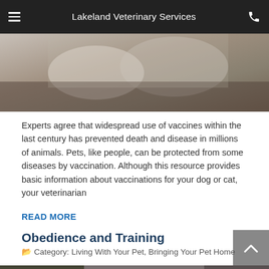Lakeland Veterinary Services
[Figure (photo): Veterinarian in white gloves examining a dog or cat, close-up of hands and fur]
Experts agree that widespread use of vaccines within the last century has prevented death and disease in millions of animals. Pets, like people, can be protected from some diseases by vaccination. Although this resource provides basic information about vaccinations for your dog or cat, your veterinarian
READ MORE
Obedience and Training
Category: Living With Your Pet, Bringing Your Pet Home
[Figure (photo): A dark-colored dog being trained, with a person's hand holding a treat visible at the edge]